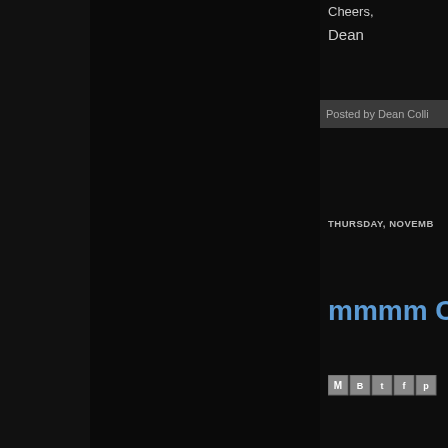Cheers,
Dean
Posted by Dean Colli
THURSDAY, NOVEMB
mmmm C
[Figure (other): Social share icons: email, blogger, twitter, facebook, pinterest]
mmmm fresh from everything that is r same time.